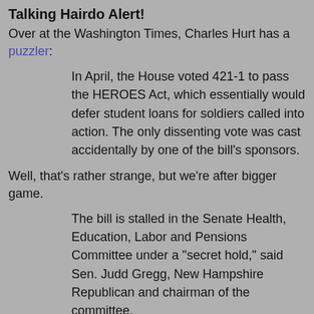Talking Hairdo Alert!
Over at the Washington Times, Charles Hurt has a puzzler:
In April, the House voted 421-1 to pass the HEROES Act, which essentially would defer student loans for soldiers called into action. The only dissenting vote was cast accidentally by one of the bill's sponsors.
Well, that's rather strange, but we're after bigger game.
The bill is stalled in the Senate Health, Education, Labor and Pensions Committee under a "secret hold," said Sen. Judd Gregg, New Hampshire Republican and chairman of the committee.
Senate tradition allows members to lodge secret, or "anonymous," holds against a bill and block it indefinitely.
Supporters of the bill, the Higher Education Relief Opportunities for Students Act, were mystified for